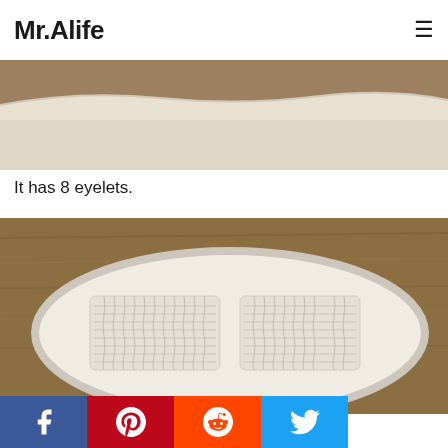Mr.Alife
[Figure (photo): Close-up photo of the sole/midsole edge of a white sneaker on a wooden surface, showing the curved white rubber sole against a warm brown background.]
It has 8 eyelets.
[Figure (photo): Bottom view of a white sneaker sole placed on a wooden surface, showing the flat white rubber outsole with textured grip patterns in two sections.]
[Figure (other): Social sharing bar with Facebook, Pinterest, Reddit, and Twitter buttons.]